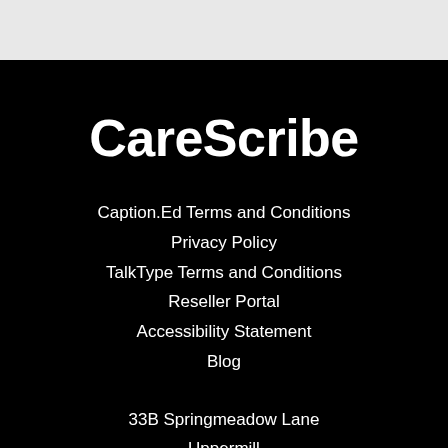CareScribe
Caption.Ed Terms and Conditions
Privacy Policy
TalkType Terms and Conditions
Reseller Portal
Accessibility Statement
Blog
33B Springmeadow Lane
Uppermill
Oldham